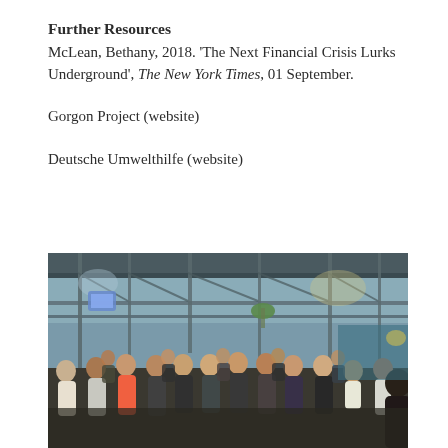Further Resources
McLean, Bethany, 2018. ‘The Next Financial Crisis Lurks Underground’, The New York Times, 01 September.
Gorgon Project (website)
Deutsche Umwelthilfe (website)
[Figure (photo): A group of people seated in an open industrial or outdoor space with scaffolding and metal framework overhead, appearing to attend an informal gathering or meeting. The scene is lit with mixed ambient light.]